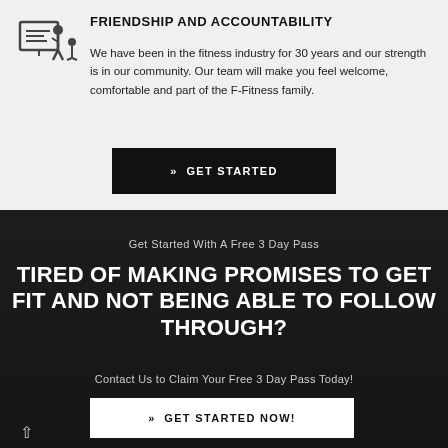[Figure (illustration): Icon of a person presenting at a board/screen with another figure observing]
FRIENDSHIP AND ACCOUNTABILITY
We have been in the fitness industry for 30 years and our strength is in our community. Our team will make you feel welcome, comfortable and part of the F-Fitness family.
»  GET STARTED
Get Started With A Free 3 Day Pass
TIRED OF MAKING PROMISES TO GET FIT AND NOT BEING ABLE TO FOLLOW THROUGH?
Contact Us to Claim Your Free 3 Day Pass Today!
»  GET STARTED NOW!